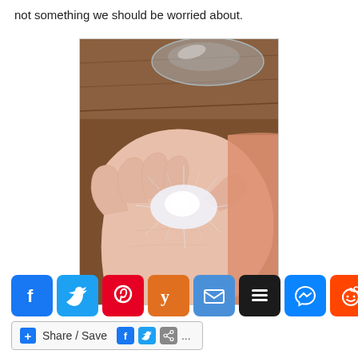not something we should be worried about.
[Figure (photo): Close-up photo of a human hand resting on a wooden surface, with a white crystalline or frosted substance on the back of the hand, showing textured skin patterns around it. Possibly demonstrating a skin condition or topical substance reaction.]
[Figure (infographic): Row of social media share buttons: Facebook (blue), Twitter (blue), Pinterest (red), Yummly (orange), Email (blue), Buffer (black), Messenger (blue), Reddit (orange-red).]
[Figure (infographic): Share/Save bar with plus icon, text 'Share / Save', Facebook icon, Twitter icon, share icon, and ellipsis.]